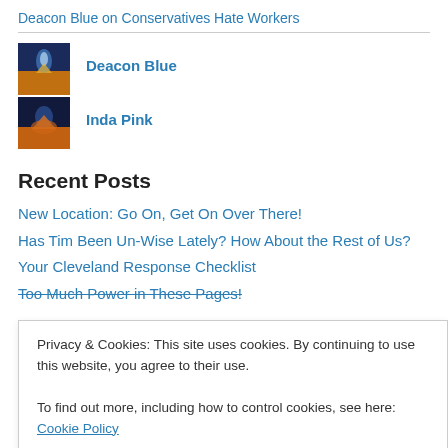Deacon Blue on Conservatives Hate Workers
[Figure (photo): Avatar image for Deacon Blue - blue and orange illustration]
Deacon Blue
[Figure (photo): Avatar image for Inda Pink - dark blue and orange illustration]
Inda Pink
Recent Posts
New Location: Go On, Get On Over There!
Has Tim Been Un-Wise Lately? How About the Rest of Us?
Your Cleveland Response Checklist
Too Much Power in These Pages!
Privacy & Cookies: This site uses cookies. By continuing to use this website, you agree to their use.
To find out more, including how to control cookies, see here: Cookie Policy
I'm Gonna Need Some a' All to Shut Up